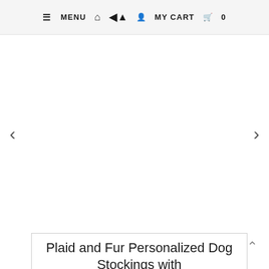≡ MENU  ⌂  ♟  MY CART  🛒  0
[Figure (other): Empty product image carousel area with left chevron arrow and right chevron arrow navigation controls]
Plaid and Fur Personalized Dog Stockings with